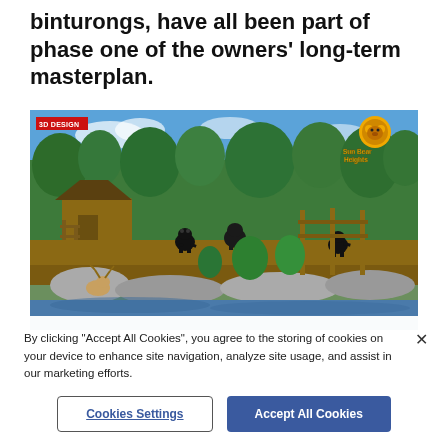binturongs, have all been part of phase one of the owners' long-term masterplan.
[Figure (photo): 3D design render of Sun Bear Heights zoo exhibit showing sun bears in a naturalistic habitat with wooden structures, lush tropical vegetation, rocks, and a water feature. A red '3D DESIGN' badge is in the top-left corner and a Sun Bear Heights logo is in the top-right corner.]
By clicking "Accept All Cookies", you agree to the storing of cookies on your device to enhance site navigation, analyze site usage, and assist in our marketing efforts.
Cookies Settings
Accept All Cookies